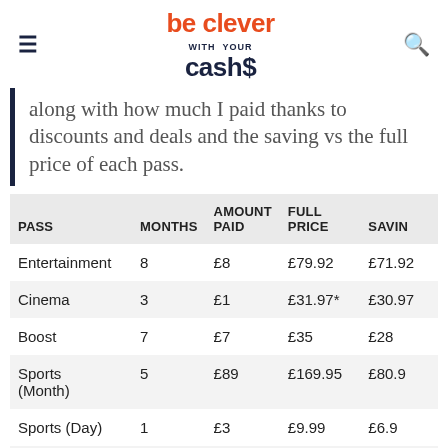be clever with your cash
along with how much I paid thanks to discounts and deals and the saving vs the full price of each pass.
| PASS | MONTHS | AMOUNT PAID | FULL PRICE | SAVING |
| --- | --- | --- | --- | --- |
| Entertainment | 8 | £8 | £79.92 | £71.92 |
| Cinema | 3 | £1 | £31.97* | £30.97 |
| Boost | 7 | £7 | £35 | £28 |
| Sports (Month) | 5 | £89 | £169.95 | £80.9… |
| Sports (Day) | 1 | £3 | £9.99 | £6.9… |
| TOTAL |  | £108 | £326.83 | £218.8… |